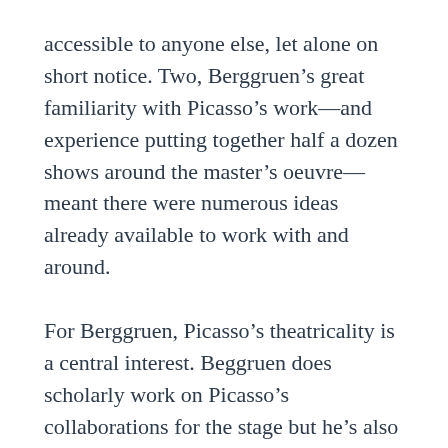accessible to anyone else, let alone on short notice. Two, Berggruen's great familiarity with Picasso's work—and experience putting together half a dozen shows around the master's oeuvre—meant there were numerous ideas already available to work with and around.
For Berggruen, Picasso's theatricality is a central interest. Beggruen does scholarly work on Picasso's collaborations for the stage but he's also interested in way Picasso creates images to tell stories. The cover of the catalogue for the show is a colorful rooster pastel drawn in March of 1938. The rooster is